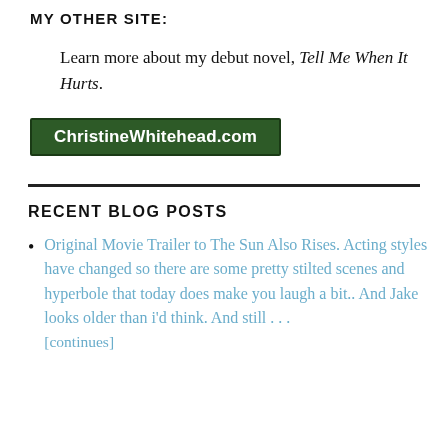MY OTHER SITE:
Learn more about my debut novel, Tell Me When It Hurts.
[Figure (logo): Green rectangular banner with white bold text reading ChristineWhitehead.com]
RECENT BLOG POSTS
Original Movie Trailer to The Sun Also Rises. Acting styles have changed so there are some pretty stilted scenes and hyperbole that today does make you laugh a bit.. And Jake looks older than i’d think. And still . . . [continues]